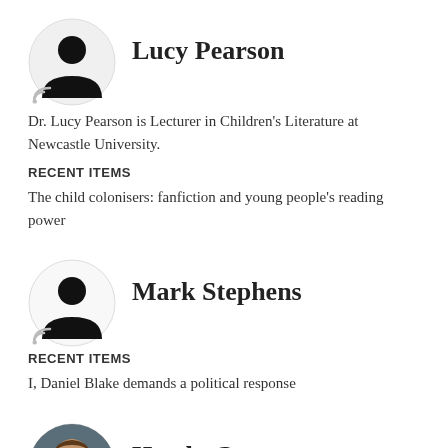[Figure (illustration): Circular avatar placeholder showing a silhouette of a person (head and shoulders) in black on white/light grey background, with RSS feed icon below]
Lucy Pearson
Dr. Lucy Pearson is Lecturer in Children's Literature at Newcastle University.
RECENT ITEMS
The child colonisers: fanfiction and young people's reading power
[Figure (illustration): Circular avatar placeholder showing a silhouette of a person (head and shoulders) in black on white/light grey background, with RSS feed icon below]
Mark Stephens
RECENT ITEMS
I, Daniel Blake demands a political response
[Figure (photo): Circular photo of Haydn Greenway, showing a man with beard in outdoor/bookshelf setting]
Haydn Greenway